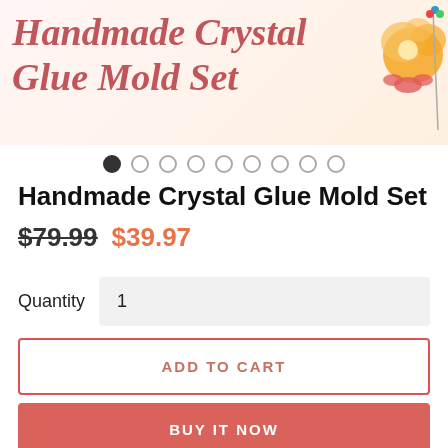[Figure (illustration): Banner image with italic serif title 'Handmade Crystal Glue Mold Set' in dark pink/rose color on light background with floral orange decoration in top right corner]
Handmade Crystal Glue Mold Set
$79.99 $39.97
Quantity 1
ADD TO CART
BUY IT NOW
PayPal